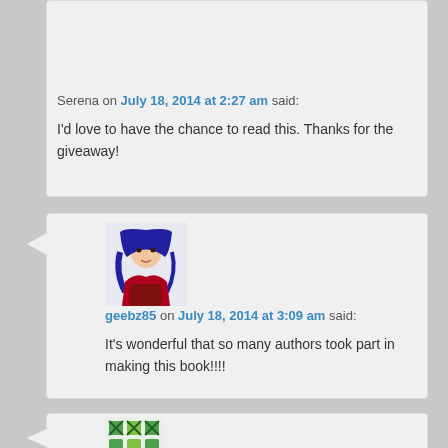[Figure (illustration): Avatar image for user Serena - anime/illustration style with orange/warm tones]
Serena on July 18, 2014 at 2:27 am said:
I'd love to have the chance to read this. Thanks for the giveaway!
[Figure (illustration): Avatar image for user geebz85 - anime character with blue hair in red outfit]
geebz85 on July 18, 2014 at 3:09 am said:
It's wonderful that so many authors took part in making this book!!!!
[Figure (illustration): Avatar image partially visible - green pattern/geometric design]